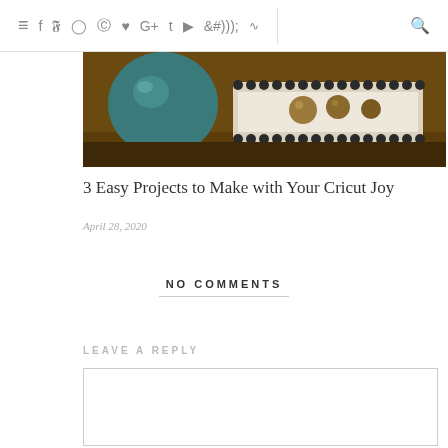≡ f y ⊙ ⊕ ♥ G+ t ▶ ))) | 🔍
[Figure (photo): Photo of a decorative tray with a teal/dark blue metallic ball and a beaded wooden tray on a dark brown wooden surface]
3 Easy Projects to Make with Your Cricut Joy
April 28, 2020
NO COMMENTS
LEAVE A REPLY